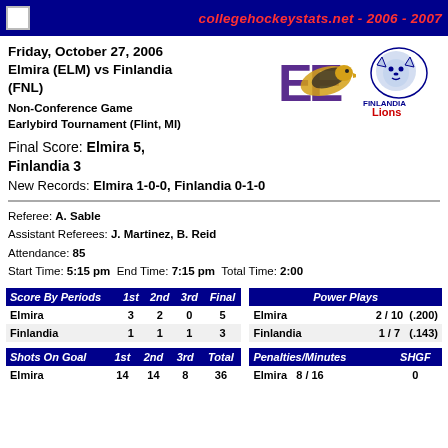collegehockeystats.net - 2006 - 2007
Friday, October 27, 2006
Elmira (ELM) vs Finlandia (FNL)
Non-Conference Game
Earlybird Tournament (Flint, MI)
[Figure (logo): Elmira College Eagle logo and Finlandia Lions logo side by side]
Final Score: Elmira 5, Finlandia 3
New Records: Elmira 1-0-0, Finlandia 0-1-0
Referee: A. Sable
Assistant Referees: J. Martinez, B. Reid
Attendance: 85
Start Time: 5:15 pm  End Time: 7:15 pm  Total Time: 2:00
| Score By Periods | 1st | 2nd | 3rd | Final |
| --- | --- | --- | --- | --- |
| Elmira | 3 | 2 | 0 | 5 |
| Finlandia | 1 | 1 | 1 | 3 |
| Power Plays |
| --- |
| Elmira | 2 / 10 | (.200) |
| Finlandia | 1 / 7 | (.143) |
| Shots On Goal | 1st | 2nd | 3rd | Total |
| --- | --- | --- | --- | --- |
| Elmira | 14 | 14 | 8 | 36 |
| Penalties/Minutes | SHGF |
| --- | --- |
| Elmira | 8 / 16 | 0 |